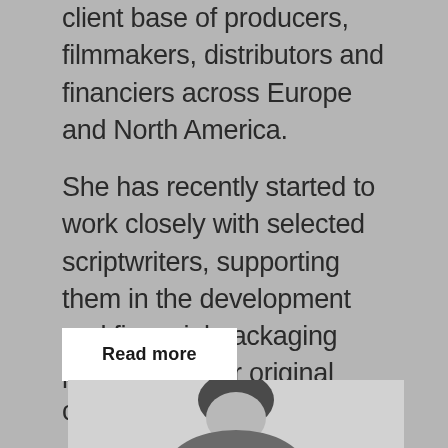client base of producers, filmmakers, distributors and financiers across Europe and North America.
She has recently started to work closely with selected scriptwriters, supporting them in the development and financial packaging process of their original content.
Read more
[Figure (photo): Black and white portrait photo of a woman, partially visible at the bottom of the page]